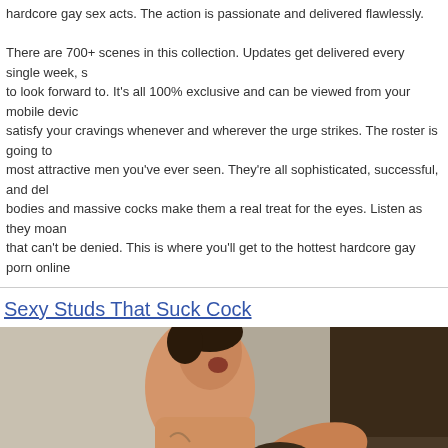hardcore gay sex acts. The action is passionate and delivered flawlessly. There are 700+ scenes in this collection. Updates get delivered every single week, so there's always something to look forward to. It's all 100% exclusive and can be viewed from your mobile device, so you can satisfy your cravings whenever and wherever the urge strikes. The roster is going to blow you away with the most attractive men you've ever seen. They're all sophisticated, successful, and deliciously naughty. Their lean bodies and massive cocks make them a real treat for the eyes. Listen as they moan for pleasure with a hunger that can't be denied. This is where you'll get to the hottest hardcore gay porn online.
Sexy Studs That Suck Cock
[Figure (photo): Two men in an intimate encounter, one standing with mouth open, the other kneeling in front of him. Indoor setting with wall outlet visible.]